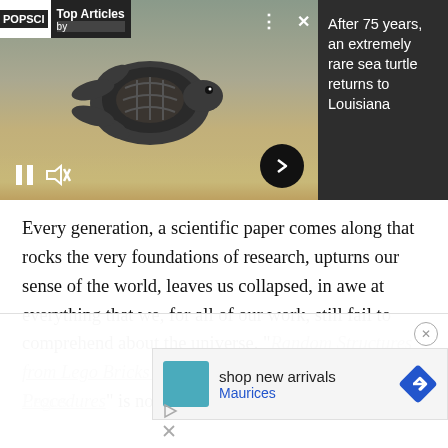[Figure (screenshot): POP SCI Top Articles video player showing a baby sea turtle on a beach, with pause, mute, and next arrow controls. Header bar with logo and close/menu icons.]
After 75 years, an extremely rare sea turtle returns to Louisiana
Every generation, a scientific paper comes along that rocks the very foundations of research, upturns our sense of the world, leaves us collapsed, in awe at everything that we, for all of our work, still fail to comprehend about the universe. “Random Structures from Lego Bricks and Analog Monte Carlo Procedures” is not that paper. It is about throwing Legos
[Figure (screenshot): Advertisement overlay: 'shop new arrivals' from Maurices with teal thumbnail and navigation arrow icon. Ad close button (x) top right. Small play and x icons at bottom left of ad.]